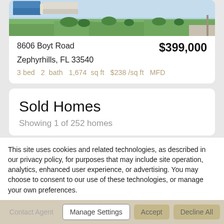[Figure (photo): Exterior photo of a home with lawn and a vehicle visible, sky in the background]
8606 Boyt Road
$399,000
Zephyrhills, FL 33540
3 bed  2  bath  1,674  sq ft  $238 /sq ft  MFD
Sold Homes
Showing 1 of 252 homes
This site uses cookies and related technologies, as described in our privacy policy, for purposes that may include site operation, analytics, enhanced user experience, or advertising. You may choose to consent to our use of these technologies, or manage your own preferences.